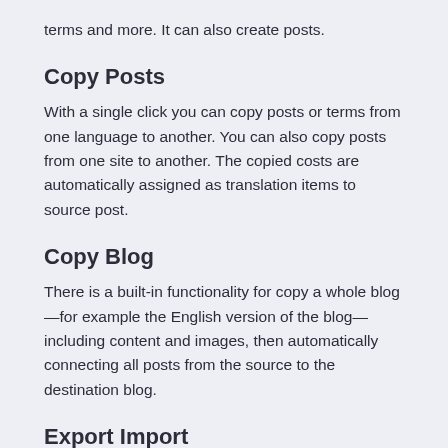terms and more. It can also create posts.
Copy Posts
With a single click you can copy posts or terms from one language to another. You can also copy posts from one site to another. The copied costs are automatically assigned as translation items to source post.
Copy Blog
There is a built-in functionality for copy a whole blog—for example the English version of the blog—including content and images, then automatically connecting all posts from the source to the destination blog.
Export Import